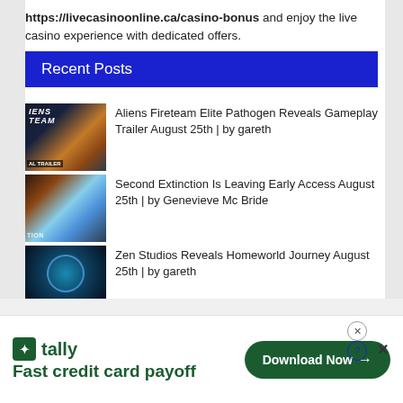https://livecasinoonline.ca/casino-bonus and enjoy the live casino experience with dedicated offers.
Recent Posts
Aliens Fireteam Elite Pathogen Reveals Gameplay Trailer August 25th | by gareth
Second Extinction Is Leaving Early Access August 25th | by Genevieve Mc Bride
Zen Studios Reveals Homeworld Journey August 25th | by gareth
[Figure (infographic): Advertisement banner for Tally app - Fast credit card payoff with Download Now button]